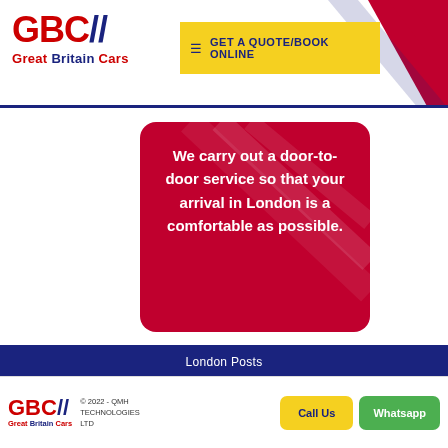GBC// Great Britain Cars | GET A QUOTE/BOOK ONLINE
[Figure (illustration): Red rounded-rectangle card with diagonal stripe decoration containing white bold text: 'We carry out a door-to-door service so that your arrival in London is a comfortable as possible.']
London Posts
12 Tourist Places In London, Which You Should Visit
5 Things You Should Ask Before Hiring A East London Airport Transfer Services
Things You Should Know About London Airport Taxis & Mini Cabs Before
GBC// Great Britain Cars | © 2022 - QMH TECHNOLOGIES LTD | Call Us | Whatsapp